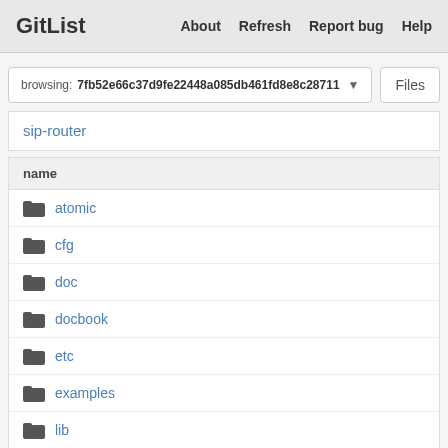GitList  About  Refresh  Report bug  Help
browsing: 7fb52e66c37d9fe22448a085db461fd8e8c28711
Files
sip-router
| name |
| --- |
| atomic |
| cfg |
| doc |
| docbook |
| etc |
| examples |
| lib |